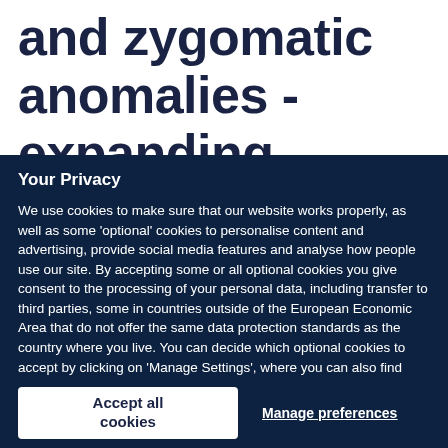and zygomatic anomalies - expanding
Your Privacy
We use cookies to make sure that our website works properly, as well as some 'optional' cookies to personalise content and advertising, provide social media features and analyse how people use our site. By accepting some or all optional cookies you give consent to the processing of your personal data, including transfer to third parties, some in countries outside of the European Economic Area that do not offer the same data protection standards as the country where you live. You can decide which optional cookies to accept by clicking on 'Manage Settings', where you can also find more information about how your personal data is processed. Further information can be found in our privacy policy.
Accept all cookies
Manage preferences